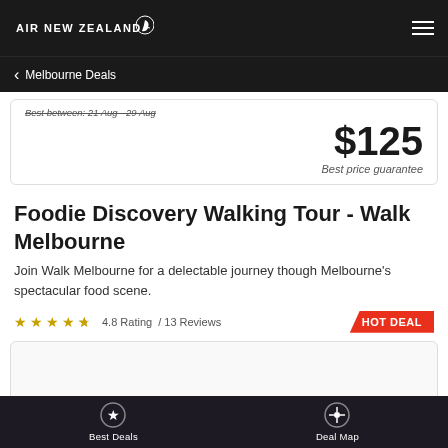AIR NEW ZEALAND
Melbourne Deals
Best between: 21 Aug - 29 Aug
$125
Best price guarantee
Foodie Discovery Walking Tour - Walk Melbourne
Join Walk Melbourne for a delectable journey though Melbourne's spectacular food scene.
4.8 Rating / 13 Reviews
HOT DEAL
Best Deals
Deal Map